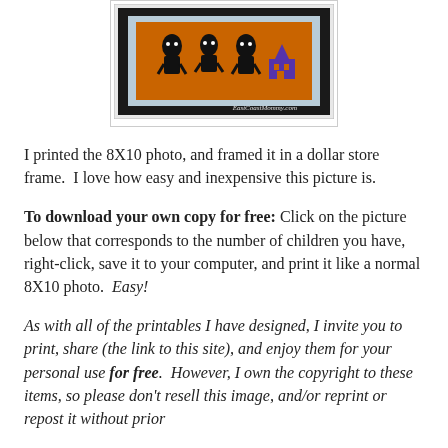[Figure (photo): A framed Halloween printable art piece showing cartoon monster silhouettes on an orange background, displayed in a black frame with a light blue mat, photographed on a wood surface. Watermark reads EastCoastMommy.com]
I printed the 8X10 photo, and framed it in a dollar store frame.  I love how easy and inexpensive this picture is.
To download your own copy for free: Click on the picture below that corresponds to the number of children you have, right-click, save it to your computer, and print it like a normal 8X10 photo.  Easy!
As with all of the printables I have designed, I invite you to print, share (the link to this site), and enjoy them for your personal use for free.  However, I own the copyright to these items, so please don't resell this image, and/or reprint or repost it without prior